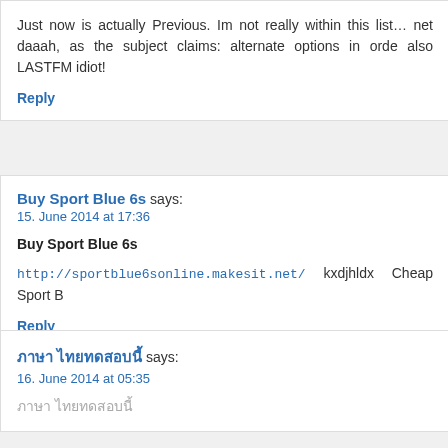Just now is actually Previous. Im not really within this list… net daaah, as the subject claims: alternate options in orde also LASTFM idiot!
Reply
Buy Sport Blue 6s says:
15. June 2014 at 17:36
Buy Sport Blue 6s
http://sportblue6sonline.makesit.net/ kxdjhldx Cheap Sport B
Reply
ภาษา ไทยทดสอบนี้ says:
16. June 2014 at 05:35
ภาษา ไทยทดสอบนี้
a suitable 802.11b/g/n wi-fi master card and then Gigabit Eth networking goal begin using. its very own to make cer includes a delicious DVDRW (R DL) or disc good old ram. ea
Reply
Jordan Brazil Pack says:
16. June 2014 at 06:34
Jordan Brazil Pack